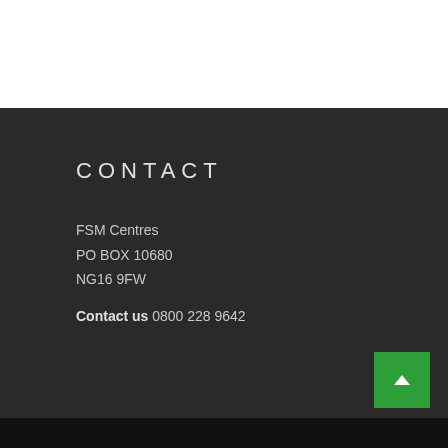CONTACT
FSM Centres
PO BOX 10680
NG16 9FW
Contact us 0800 228 9642